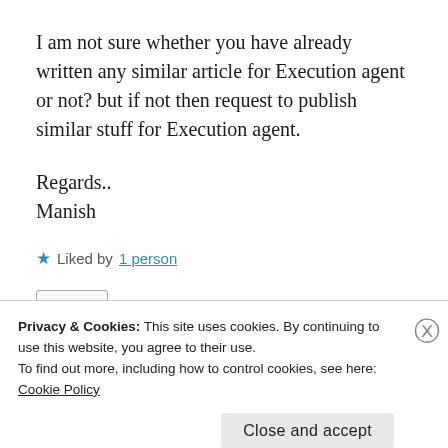I am not sure whether you have already written any similar article for Execution agent or not? but if not then request to publish similar stuff for Execution agent.
Regards..
Manish
★ Liked by 1 person
Privacy & Cookies: This site uses cookies. By continuing to use this website, you agree to their use.
To find out more, including how to control cookies, see here:
Cookie Policy
Close and accept